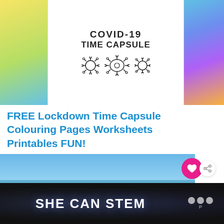[Figure (illustration): A collage showing a COVID-19 Time Capsule coloring page in the center with virus illustrations, flanked by yellow-green crayon texture on the left and rainbow crayon texture on the right]
FREE Lockdown Time Capsule Colouring Pages Worksheets Printables FUN!
[Figure (photo): A beach and sea scene under a blue sky with sandy shore]
[Figure (infographic): WHAT'S NEXT arrow with Attachment Mummy thumbnail and text, a social sharing widget with heart icon showing count of 1 and share button]
[Figure (screenshot): A dark background banner with SHE CAN STEM text in white bold letters and a logo on the right]